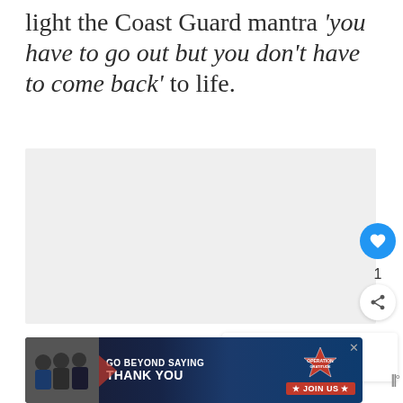light the Coast Guard mantra 'you have to go out but you don't have to come back' to life.
[Figure (photo): A light gray image placeholder area embedded in the article body.]
[Figure (screenshot): A 'What's Next' recommendation widget showing '10 Things Campgroun...' with a thumbnail.]
[Figure (infographic): Advertisement banner for Operation Gratitude reading 'GO BEYOND SAYING THANK YOU' with JOIN US button and photo of people in uniform.]